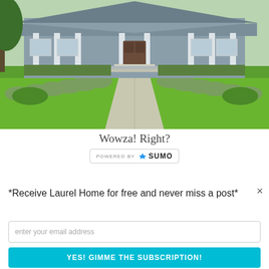[Figure (photo): Exterior photo of a suburban house with white columns, a covered porch, green lawn, neatly trimmed shrubs lining a concrete walkway leading to front steps.]
Wowza! Right?
[Figure (logo): Powered by SUMO badge with crown icon]
×
*Receive Laurel Home for free and never miss a post*
enter your email address
YES! GIMME THE SUBSCRIPTION!